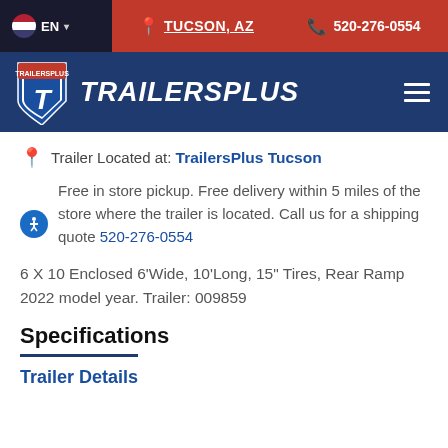EN  |  TUCSON, AZ  |  520-276-0554
[Figure (logo): TrailersPlus shield logo with letter T, followed by TRAILERSPLUS brand name in italic white text on dark navy navigation bar]
Trailer Located at: TrailersPlus Tucson
Free in store pickup. Free delivery within 5 miles of the store where the trailer is located. Call us for a shipping quote 520-276-0554
6 X 10 Enclosed 6'Wide, 10'Long, 15" Tires, Rear Ramp 2022 model year. Trailer: 009859
Specifications
Trailer Details